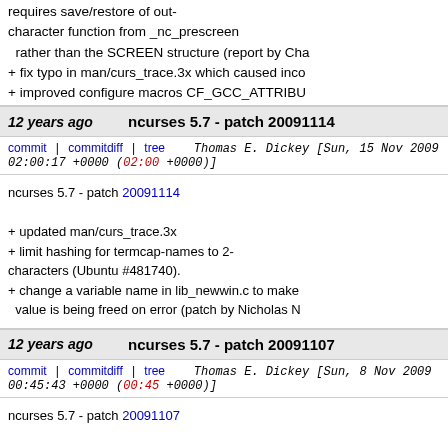requires save/restore of out-character function from _nc_prescreen rather than the SCREEN structure (report by Cha + fix typo in man/curs_trace.3x which caused inco + improved configure macros CF_GCC_ATTRIBU
12 years ago   ncurses 5.7 - patch 20091114
commit | commitdiff | tree   Thomas E. Dickey [Sun, 15 Nov 2009 02:00:17 +0000 (02:00 +0000)]
ncurses 5.7 - patch 20091114
+ updated man/curs_trace.3x
+ limit hashing for termcap-names to 2-characters (Ubuntu #481740).
+ change a variable name in lib_newwin.c to make value is being freed on error (patch by Nicholas N
12 years ago   ncurses 5.7 - patch 20091107
commit | commitdiff | tree   Thomas E. Dickey [Sun, 8 Nov 2009 00:45:43 +0000 (00:45 +0000)]
ncurses 5.7 - patch 20091107
+ improve test/ncurses.c color-cycling test by reusing attribute-and color-cycling logic from the video-